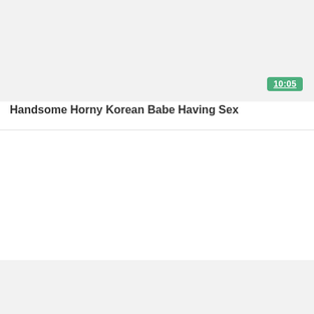[Figure (screenshot): Video thumbnail placeholder for first video card, light gray background]
10:05
Handsome Horny Korean Babe Having Sex
[Figure (screenshot): Video thumbnail placeholder for second video card, light gray background]
24:23
Thai softcore Love gig - นักเรียน 1...